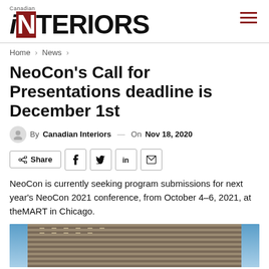Canadian iNTERIORS
Home > News >
NeoCon's Call for Presentations deadline is December 1st
By Canadian Interiors — On Nov 18, 2020
Share
NeoCon is currently seeking program submissions for next year's NeoCon 2021 conference, from October 4–6, 2021, at theMART in Chicago.
[Figure (photo): Looking up at a tall building facade with horizontal striped pattern, photographed from below against a blue sky]